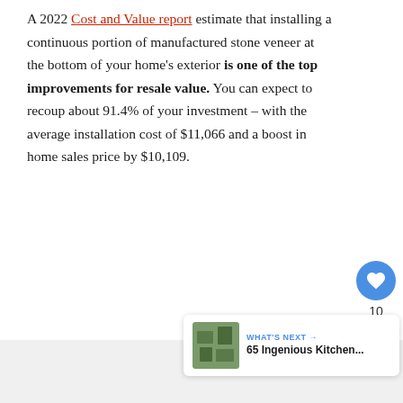A 2022 Cost and Value report estimate that installing a continuous portion of manufactured stone veneer at the bottom of your home's exterior is one of the top improvements for resale value. You can expect to recoup about 91.4% of your investment – with the average installation cost of $11,066 and a boost in home sales price by $10,109.
[Figure (other): UI elements: like button (heart icon in blue circle) with count 10, share button (share icon in white circle with shadow), and a 'What's Next' card showing '65 Ingenious Kitchen...' with a thumbnail image]